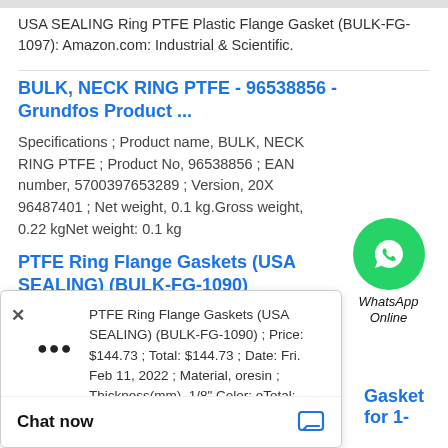USA SEALING Ring PTFE Plastic Flange Gasket (BULK-FG-1097): Amazon.com: Industrial & Scientific.
BULK, NECK RING PTFE - 96538856 - Grundfos Product ...
Specifications ; Product name, BULK, NECK RING PTFE ; Product No, 96538856 ; EAN number, 5700397653289 ; Version, 20X 96487401 ; Net weight, 0.1 kg.Gross weight, 0.22 kgNet weight: 0.1 kg
[Figure (logo): WhatsApp Online button with green phone icon circle and text 'WhatsApp Online']
PTFE Ring Flange Gaskets (USA SEALING) (BULK-FG-1090)
PTFE Ring Flange Gaskets (USA SEALING) (BULK-FG-1090) ; Price: $144.73 ; Total: $144.73 ; Date: Fri. Feb 11, 2022 ; Material, oresin ; Thickness(mm), 1/8".Color: eTotal: $144.73Thickness(mm): 1/8"Ship Date: Fri. Feb 11, 2022
Chat now
Gasket for 1-